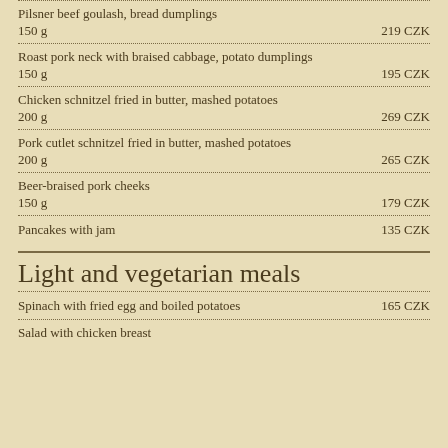Pilsner beef goulash, bread dumplings | 150 g | 219 CZK
Roast pork neck with braised cabbage, potato dumplings | 150 g | 195 CZK
Chicken schnitzel fried in butter, mashed potatoes | 200 g | 269 CZK
Pork cutlet schnitzel fried in butter, mashed potatoes | 200 g | 265 CZK
Beer-braised pork cheeks | 150 g | 179 CZK
Pancakes with jam | 135 CZK
Light and vegetarian meals
Spinach with fried egg and boiled potatoes | 165 CZK
Salad with chicken breast